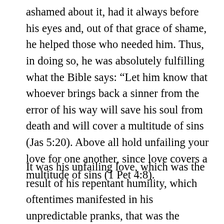ashamed about it, had it always before his eyes and, out of that grace of shame, he helped those who needed him. Thus, in doing so, he was absolutely fulfilling what the Bible says: “Let him know that whoever brings back a sinner from the error of his way will save his soul from death and will cover a multitude of sins (Jas 5:20). Above all hold unfailing your love for one another, since love covers a multitude of sins (1 Pet 4:8).
It was his unfailing love, which was the result of his repentant humility, which oftentimes manifested in his unpredictable pranks, that was the driving force of Father Anatoly’s holiness. As Jesus said to Saint Faustina: True